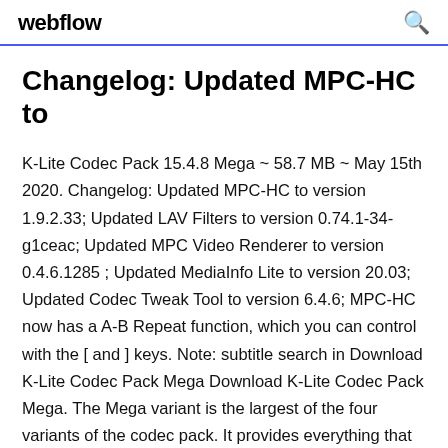webflow
Changelog: Updated MPC-HC to
K-Lite Codec Pack 15.4.8 Mega ~ 58.7 MB ~ May 15th 2020. Changelog: Updated MPC-HC to version 1.9.2.33; Updated LAV Filters to version 0.74.1-34-g1ceac; Updated MPC Video Renderer to version 0.4.6.1285 ; Updated MediaInfo Lite to version 20.03; Updated Codec Tweak Tool to version 6.4.6; MPC-HC now has a A-B Repeat function, which you can control with the [ and ] keys. Note: subtitle search in Download K-Lite Codec Pack Mega Download K-Lite Codec Pack Mega. The Mega variant is the largest of the four variants of the codec pack. It provides everything that you need to play all your audio